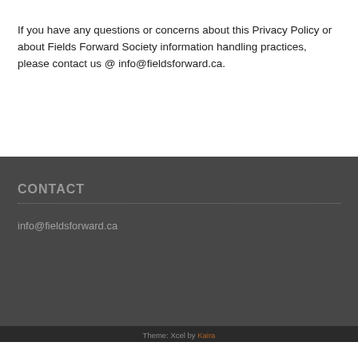If you have any questions or concerns about this Privacy Policy or about Fields Forward Society information handling practices, please contact us @ info@fieldsforward.ca.
CONTACT
info@fieldsforward.ca
Theme: Xcel by Kaira